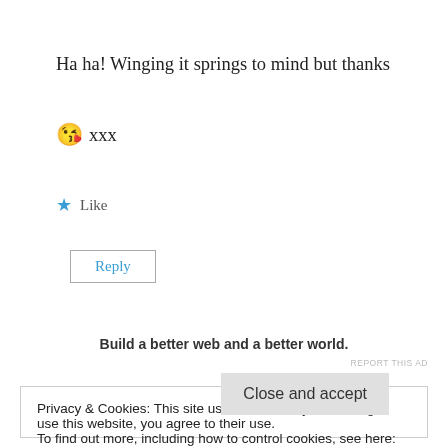Ha ha! Winging it springs to mind but thanks 😘 xxx
★ Like
Reply
Build a better web and a better world.
REPORT THIS AD
Privacy & Cookies: This site uses cookies. By continuing to use this website, you agree to their use.
To find out more, including how to control cookies, see here: Cookie Policy
Close and accept
Your one incredible mother and so damn